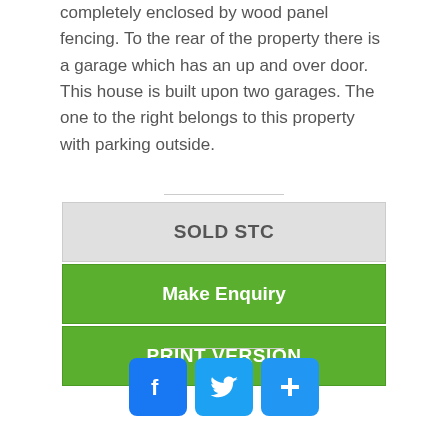completely enclosed by wood panel fencing. To the rear of the property there is a garage which has an up and over door. This house is built upon two garages. The one to the right belongs to this property with parking outside.
SOLD STC
Make Enquiry
PRINT VERSION
[Figure (infographic): Three social media icon buttons: Facebook (blue, f logo), Twitter (light blue, bird logo), and a plus/share button (blue, + symbol)]